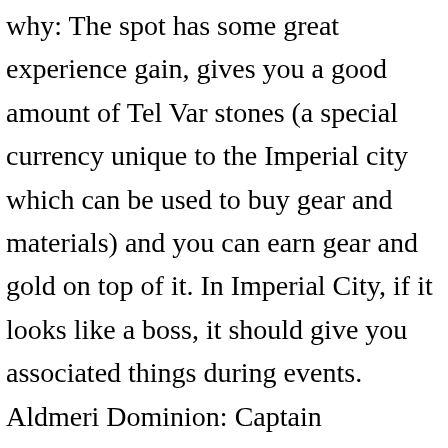why: The spot has some great experience gain, gives you a good amount of Tel Var stones (a special currency unique to the Imperial city which can be used to buy gear and materials) and you can earn gear and gold on top of it. In Imperial City, if it looks like a boss, it should give you associated things during events. Aldmeri Dominion: Captain Mulamurr and Captain Seriril. Imperial City Sewers are actually terrifying Im a relatively new player and I decided to finally try out the Imperial City and I was suprised how exciting and even scary it is lmfao. What is a scamp and how to loot